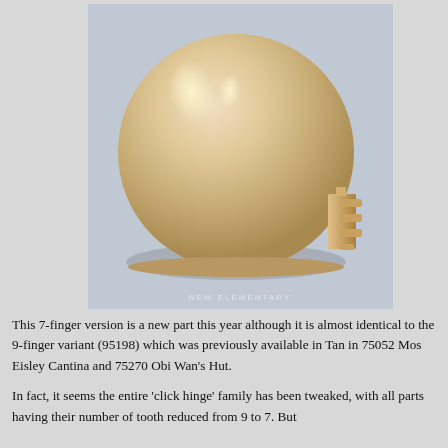[Figure (photo): A tan/beige LEGO dome/hemisphere piece with a 7-finger click hinge attachment on its right side, photographed against a light blue-grey background. Watermark reads 'NEW ELEMENTARY' at the bottom.]
This 7-finger version is a new part this year although it is almost identical to the 9-finger variant (95198) which was previously available in Tan in 75052 Mos Eisley Cantina and 75270 Obi Wan's Hut.
In fact, it seems the entire 'click hinge' family has been tweaked, with all parts having their number of tooth reduced from 9 to 7. But